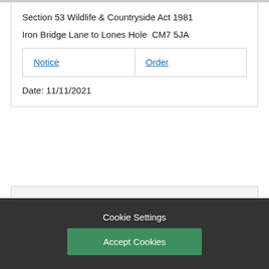Section 53 Wildlife & Countryside Act 1981
Iron Bridge Lane to Lones Hole  CM7 5JA
| Notice | Order |
Date: 11/11/2021
Felsted Footpath 99 - Confirmation of Order
Cookie Settings
Accept Cookies